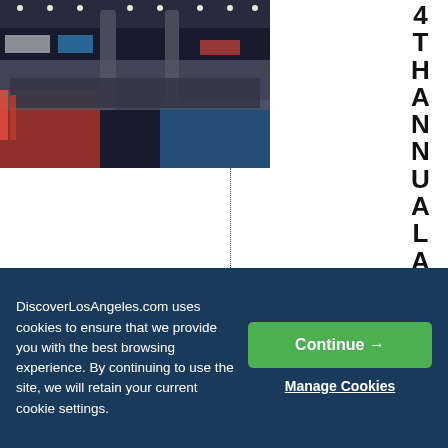[Figure (photo): Aerial/overhead view of a large convention hall packed with crowds, booths, and colorful displays — an anime expo or similar large convention event.]
4THANNUALANIMEXPO
DiscoverLosAngeles.com uses cookies to ensure that we provide you with the best browsing experience. By continuing to use the site, we will retain your current cookie settings.
Continue →
Manage Cookies